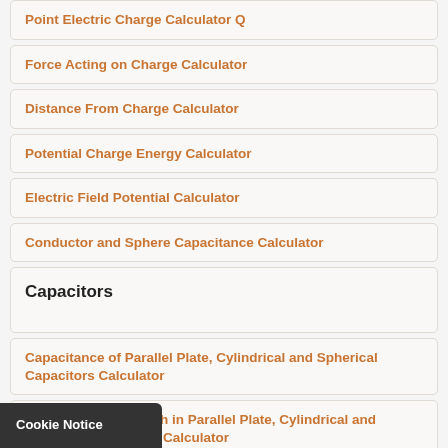Point Electric Charge Calculator Q
Force Acting on Charge Calculator
Distance From Charge Calculator
Potential Charge Energy Calculator
Electric Field Potential Calculator
Conductor and Sphere Capacitance Calculator
Capacitors
Capacitance of Parallel Plate, Cylindrical and Spherical Capacitors Calculator
Electric Field Strength in Parallel Plate, Cylindrical and Spherical Capacitors Calculator
Voltage (Potential Difference) of Parallel Plate, Cylindrical and Spherical Capacitors Calculator
Distance Between Plates in Parallel Plate Capacitor Calculator